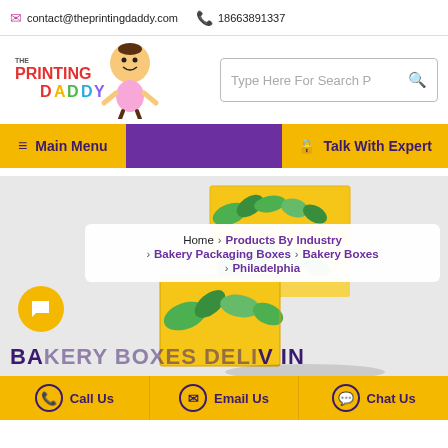contact@theprintingdaddy.com   18663891337
[Figure (logo): The Printing Daddy logo with cartoon character]
Type Here For Search P
Main Menu   Talk With Expert
[Figure (photo): Bakery product boxes with green and yellow design]
Home > Products By Industry > Bakery Packaging Boxes > Bakery Boxes > Philadelphia
BAKERY BOXES DELIV IN...
Call Us   Email Us   Chat Us